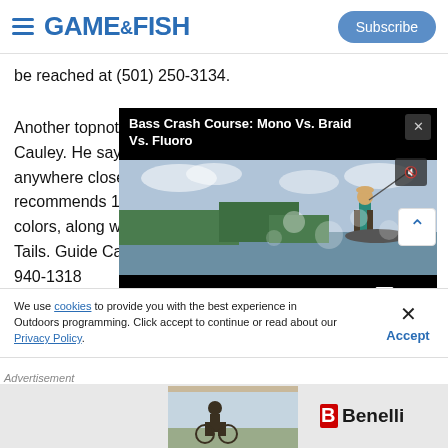Game & Fish — Subscribe
be reached at (501) 250-3134.
Another topnotch … Cauley. He says … anywhere close … recommends 1/… colors, along w… Tails. Guide Cau… 940-1318
[Figure (screenshot): Embedded video player popup titled 'Bass Crash Course: Mono Vs. Braid Vs. Fluoro' showing a fisherman standing on a boat casting a rod, with video controls showing 00:00 / 04:04]
We use cookies to provide you with the best experience in Outdoors programming. Click accept to continue or read about our Privacy Policy.
Advertisement
[Figure (photo): Benelli advertisement banner showing a person on a bike in a field with the Benelli logo]